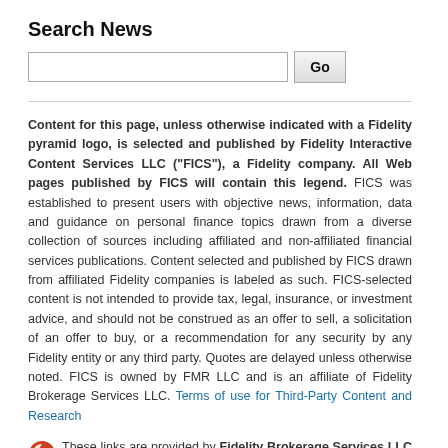Search News
[Figure (screenshot): Search input box with a Go button]
Content for this page, unless otherwise indicated with a Fidelity pyramid logo, is selected and published by Fidelity Interactive Content Services LLC ("FICS"), a Fidelity company. All Web pages published by FICS will contain this legend. FICS was established to present users with objective news, information, data and guidance on personal finance topics drawn from a diverse collection of sources including affiliated and non-affiliated financial services publications. Content selected and published by FICS drawn from affiliated Fidelity companies is labeled as such. FICS-selected content is not intended to provide tax, legal, insurance, or investment advice, and should not be construed as an offer to sell, a solicitation of an offer to buy, or a recommendation for any security by any Fidelity entity or any third party. Quotes are delayed unless otherwise noted. FICS is owned by FMR LLC and is an affiliate of Fidelity Brokerage Services LLC. Terms of use for Third-Party Content and Research
These links are provided by Fidelity Brokerage Services LLC ("FBS") for educational and informational purposes only. FBS is responsible for the information contained in the links. FICS and FBS are separate but affiliated companies and FICS is not involved in the preparation or selection of these links, nor does it explicitly or implicitly endorse or